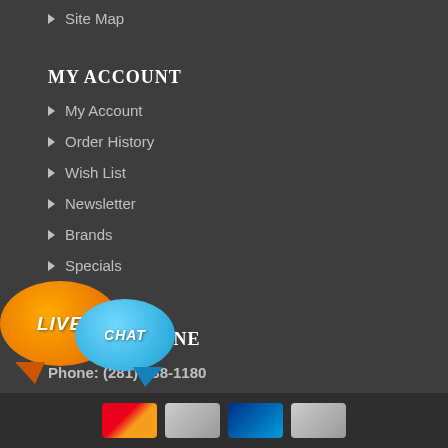Site Map
MY ACCOUNT
My Account
Order History
Wish List
Newsletter
Brands
Specials
ORDER ONLINE
Phone: (281)-738-1180
pport@virventures.com
[Figure (illustration): Live Chat button with orange bubble labeled LIVE and blue bubble labeled CHAT]